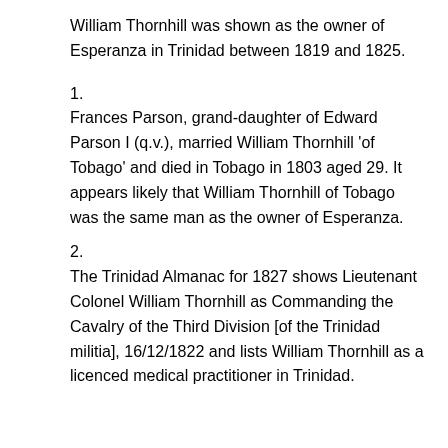William Thornhill was shown as the owner of Esperanza in Trinidad between 1819 and 1825.
1.
Frances Parson, grand-daughter of Edward Parson I (q.v.), married William Thornhill 'of Tobago' and died in Tobago in 1803 aged 29. It appears likely that William Thornhill of Tobago was the same man as the owner of Esperanza.
2.
The Trinidad Almanac for 1827 shows Lieutenant Colonel William Thornhill as Commanding the Cavalry of the Third Division [of the Trinidad militia], 16/12/1822 and lists William Thornhill as a licenced medical practitioner in Trinidad.